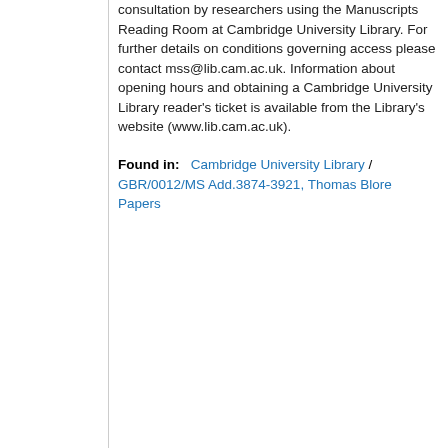consultation by researchers using the Manuscripts Reading Room at Cambridge University Library. For further details on conditions governing access please contact mss@lib.cam.ac.uk. Information about opening hours and obtaining a Cambridge University Library reader's ticket is available from the Library's website (www.lib.cam.ac.uk).
Found in:   Cambridge University Library / GBR/0012/MS Add.3874-3921, Thomas Blore Papers